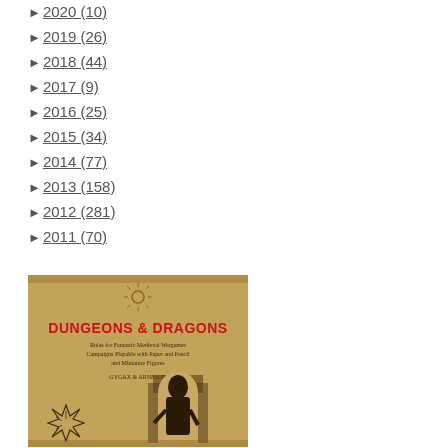► 2020 (10)
► 2019 (26)
► 2018 (44)
► 2017 (9)
► 2016 (25)
► 2015 (34)
► 2014 (77)
► 2013 (158)
► 2012 (281)
► 2011 (70)
[Figure (photo): Cover of Dungeons & Dragons boxed set showing the title 'DUNGEONS & DRAGONS' in red, subtitle 'Rules for Fantastic Medieval Wargames Campaigns Playable with Paper and Pencil and Miniature Figures', authors 'GYGAX & ARNESON', on a tan/brown background with a figure illustration.]